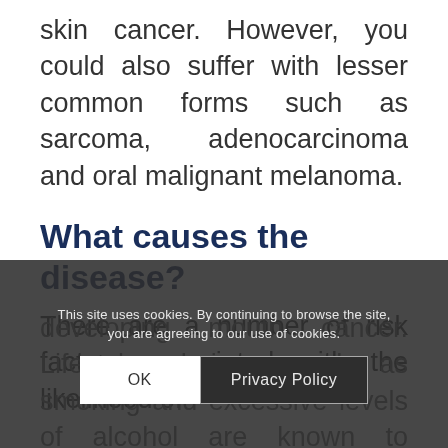skin cancer. However, you could also suffer with lesser common forms such as sarcoma, adenocarcinoma and oral malignant melanoma.
What causes the disease?
There are a number of risk factors associated with the likelihood of developing mouth cancer. Lifestyle choices, such as smoking and excessive levels of alcohol are known to contribute to mouth cancer.